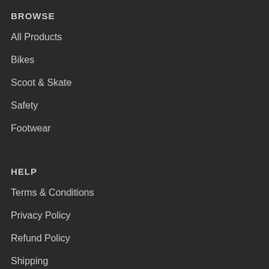BROWSE
All Products
Bikes
Scoot & Skate
Safety
Footwear
HELP
Terms & Conditions
Privacy Policy
Refund Policy
Shipping
Contact Us